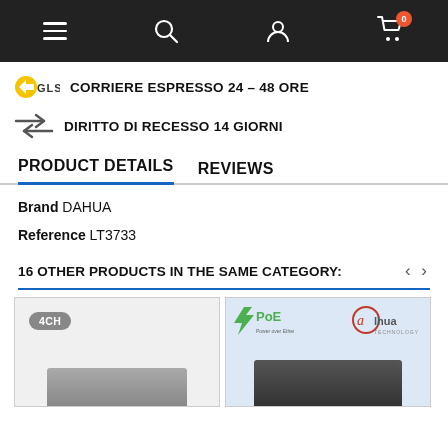Navigation bar with menu, search, account, and cart (0 items)
CORRIERE ESPRESSO 24 - 48 ORE
DIRITTO DI RECESSO 14 GIORNI
PRODUCT DETAILS   REVIEWS
Brand DAHUA
Reference LT3733
16 OTHER PRODUCTS IN THE SAME CATEGORY:
[Figure (photo): Product card 1: gray background with 4CH badge, showing a partial NVR device image at the bottom]
[Figure (photo): Product card 2: light blue background with PoE logo (green) and Dahua Technology logo (red/gray), showing a dark NVR device at the bottom]